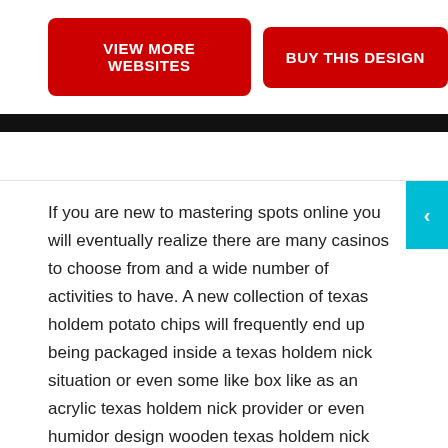[Figure (other): Two red rounded rectangle buttons side by side: 'VIEW MORE WEBSITES' and 'BUY THIS DESIGN']
If you are new to mastering spots online you will eventually realize there are many casinos to choose from and a wide number of activities to have. A new collection of texas holdem potato chips will frequently end up being packaged inside a texas holdem nick situation or even some like box like as an acrylic texas holdem nick provider or even humidor design wooden texas holdem nick situation, inside the custom